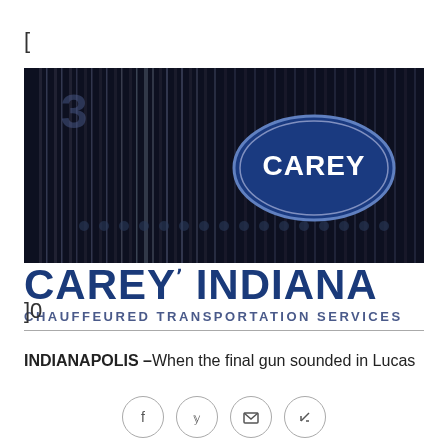[
[Figure (logo): Carey Indiana Chauffeured Transportation Services logo — dark vehicle grille background with Carey oval badge, and bold blue 'CAREY INDIANA' text with 'CHAUFFEURED TRANSPORTATION SERVICES' subtitle below]
]0
INDIANAPOLIS –When the final gun sounded in Lucas
[Figure (infographic): Social sharing buttons row: Facebook, Twitter, Email, Link icons in circular outlines]